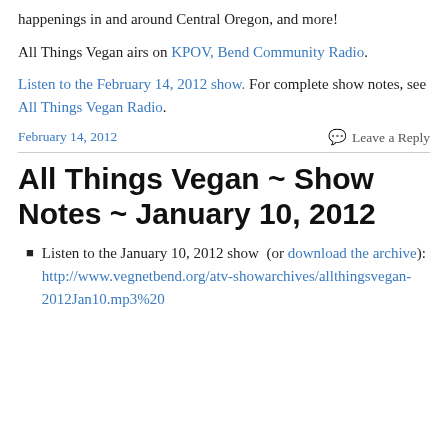happenings in and around Central Oregon, and more!
All Things Vegan airs on KPOV, Bend Community Radio.
Listen to the February 14, 2012 show. For complete show notes, see All Things Vegan Radio.
February 14, 2012
Leave a Reply
All Things Vegan ~ Show Notes ~ January 10, 2012
Listen to the January 10, 2012 show  (or download the archive): http://www.vegnetbend.org/atv-showarchives/allthingsvegan-2012Jan10.mp3%20